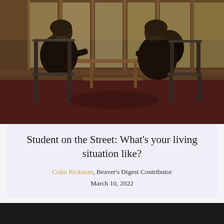[Figure (photo): Two students wearing masks sit across from each other at a table in what appears to be a university building. The room has large windows with warm wood accents and a dark red/maroon carpet. The lighting is dim and atmospheric, with the students silhouetted against the bright windows behind them.]
Student on the Street: What's your living situation like?
Colin Rickman, Beaver's Digest Contributor
March 10, 2022
[Figure (photo): Partial view of a dark/black image at the bottom of the page - likely the beginning of another photo.]